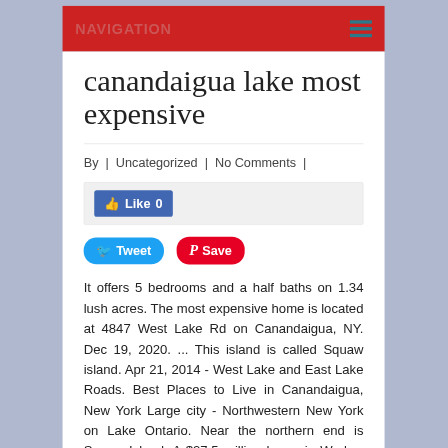NAVIGATION
canandaigua lake most expensive
By  |  Uncategorized  |  No Comments  |
[Figure (screenshot): Facebook Like button showing Like 0, Tweet button, and Save (Pinterest) button]
It offers 5 bedrooms and a half baths on 1.34 lush acres. The most expensive home is located at 4847 West Lake Rd on Canandaigua, NY. Dec 19, 2020. ... This island is called Squaw island. Apr 21, 2014 - West Lake and East Lake Roads. Best Places to Live in Canandaigua, New York Large city - Northwestern New York on Lake Ontario. Near the northern end is Squaw Island. A $27.5 million home in Worley, Idaho along Lake Coeur d'Alene is Idaho's most expensive homes sold on the public market,